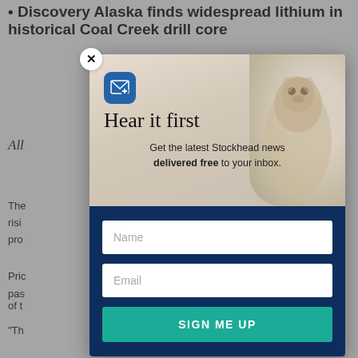Discovery Alaska finds widespread lithium in historical Coal Creek drill core
All
The rising production level.
Pric
pas 0% of t
"Th d
[Figure (screenshot): Newsletter signup modal popup with 'Hear it first' heading, email icon, prairie dog background image, Name and Email input fields, and a teal SIGN ME UP button on dark navy background. Has a close (X) button in top-left corner.]